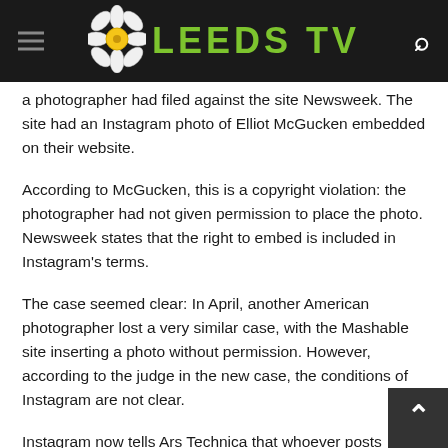LEEDS TV
a photographer had filed against the site Newsweek. The site had an Instagram photo of Elliot McGucken embedded on their website.
According to McGucken, this is a copyright violation: the photographer had not given permission to place the photo. Newsweek states that the right to embed is included in Instagram's terms.
The case seemed clear: In April, another American photographer lost a very similar case, with the Mashable site inserting a photo without permission. However, according to the judge in the new case, the conditions of Instagram are not clear.
Instagram now tells Ars Technica that whoever posts photos is responsible for obtaining the photographer's permission. “Our terms are a sublicense for us, but that